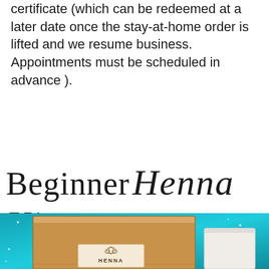certificate (which can be redeemed at a later date once the stay-at-home order is lifted and we resume business. Appointments must be scheduled in advance ).
Beginner Henna Kit
[Figure (photo): Photo of a cardboard box henna kit product with a label showing a lotus/henna design and the word HENNA, on a teal/turquoise sparkly fabric background, with another white package visible to the right.]